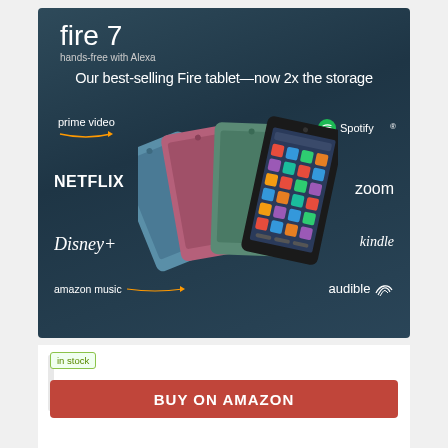[Figure (photo): Amazon Fire 7 tablet advertisement banner showing tablets in multiple colors (blue, pink, green, black) fanned out with app logos: Prime Video, Netflix, Disney+, Amazon Music on the left; Spotify, zoom, kindle, audible on the right. Dark blue-grey background.]
fire 7
hands-free with Alexa
Our best-selling Fire tablet—now 2x the storage
prime video
NETFLIX
Disney+
amazon music
Spotify
zoom
kindle
audible
in stock
BUY ON AMAZON